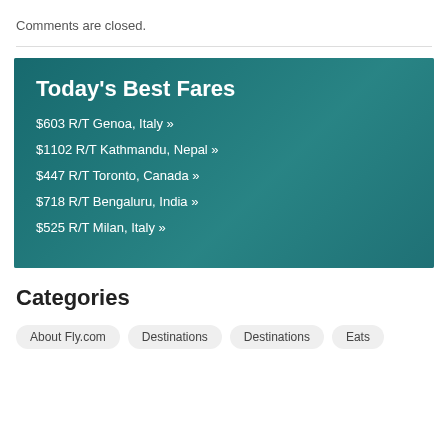Comments are closed.
[Figure (infographic): Today's Best Fares promotional box with teal background listing flight deals: $603 R/T Genoa, Italy; $1102 R/T Kathmandu, Nepal; $447 R/T Toronto, Canada; $718 R/T Bengaluru, India; $525 R/T Milan, Italy]
Categories
About Fly.com
Destinations
Destinations
Eats